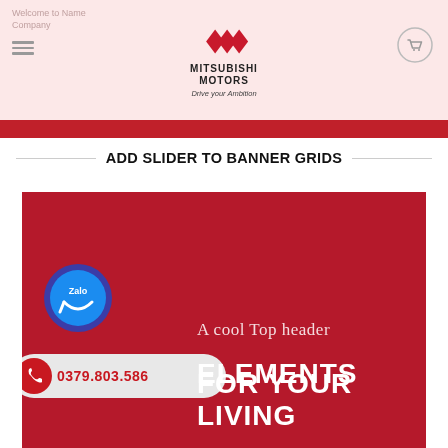Welcome to Name Company
[Figure (logo): Mitsubishi Motors logo with red diamond emblem, text MITSUBISHI MOTORS and tagline Drive your Ambition]
ADD SLIDER TO BANNER GRIDS
[Figure (screenshot): Red banner area with Zalo button, phone number bar showing 0379.803.586, text 'A cool Top header', 'ELEMENTS', 'FOR YOUR LIVING']